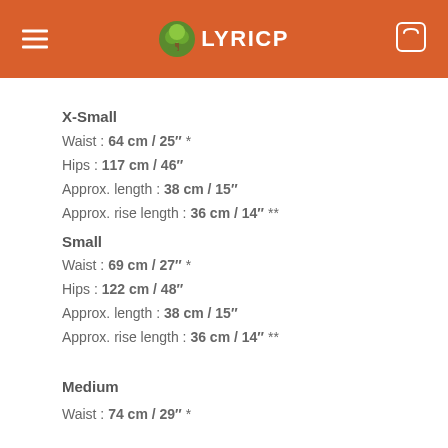LYRICP
X-Small
Waist : 64 cm / 25" *
Hips : 117 cm / 46"
Approx. length : 38 cm / 15"
Approx. rise length : 36 cm / 14" **
Small
Waist : 69 cm / 27" *
Hips : 122 cm / 48"
Approx. length : 38 cm / 15"
Approx. rise length : 36 cm / 14" **
Medium
Waist : 74 cm / 29" *